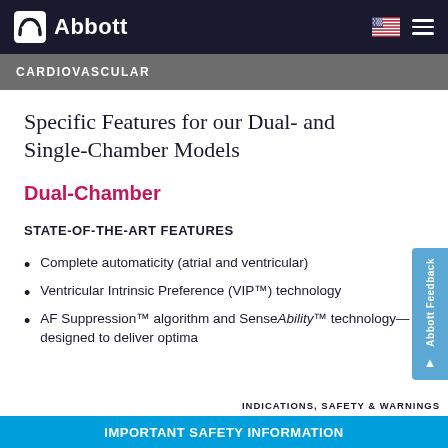Abbott — Cardiovascular
Specific Features for our Dual- and Single-Chamber Models
Dual-Chamber
STATE-OF-THE-ART FEATURES
Complete automaticity (atrial and ventricular)
Ventricular Intrinsic Preference (VIP™) technology
AF Suppression™ algorithm and SenseAbility™ technology—designed to deliver optima...
IMPORTANT SAFETY INFORMATION